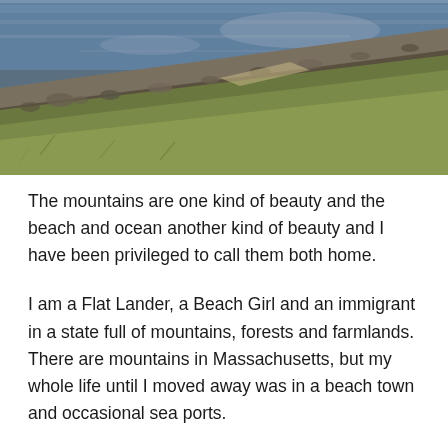[Figure (photo): Outdoor landscape photograph showing a river or lake shoreline with rocky banks, a grassy hillside slope in the foreground, and calm reflective water in the background under an overcast sky.]
The mountains are one kind of beauty and the beach and ocean another kind of beauty and I have been privileged to call them both home.
I am a Flat Lander, a Beach Girl and an immigrant in a state full of mountains, forests and farmlands. There are mountains in Massachusetts, but my whole life until I moved away was in a beach town and occasional sea ports.